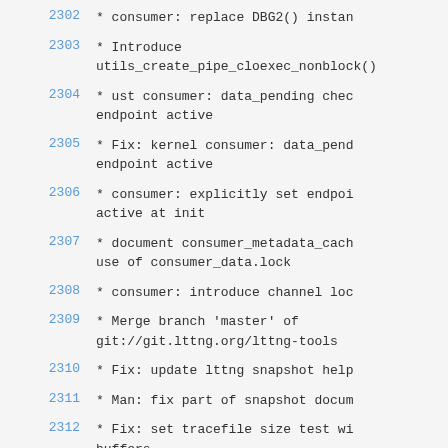2302    * consumer: replace DBG2() instan
2303    * Introduce utils_create_pipe_cloexec_nonblock()
2304    * ust consumer: data_pending chec endpoint active
2305    * Fix: kernel consumer: data_pend endpoint active
2306    * consumer: explicitly set endpoi active at init
2307    * document consumer_metadata_cach use of consumer_data.lock
2308    * consumer: introduce channel loc
2309    * Merge branch 'master' of git://git.lttng.org/lttng-tools
2310    * Fix: update lttng snapshot help
2311    * Man: fix part of snapshot docum
2312    * Fix: set tracefile size test wi buffers